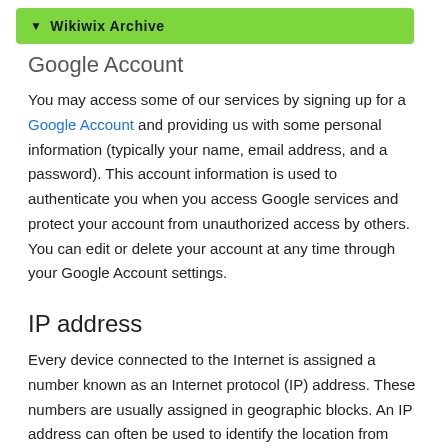Wikiwix Archive
Google Account
You may access some of our services by signing up for a Google Account and providing us with some personal information (typically your name, email address, and a password). This account information is used to authenticate you when you access Google services and protect your account from unauthorized access by others. You can edit or delete your account at any time through your Google Account settings.
IP address
Every device connected to the Internet is assigned a number known as an Internet protocol (IP) address. These numbers are usually assigned in geographic blocks. An IP address can often be used to identify the location from which a device is connecting